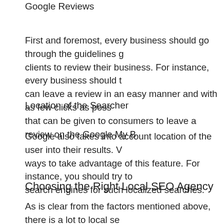Google Reviews
First and foremost, every business should go through the guidelines clients to review their business. For instance, every business should can leave a review in an easy manner and with as few clicks as poss that can be given to consumers to leave a review on the Google My B
Location of the Searcher
Google also takes into account location of the user into their results. ways to take advantage of this feature. For instance, you should try to search engines for such localized searches.
Choosing the Right Local SEO Agency
As is clear from the factors mentioned above, there is a lot to local se latest Google updates and make necessary changes to rank high and Therefore, it is recommended to hire the services of a local search en searches.
Here is a list of some of the factors you should consider to choose the